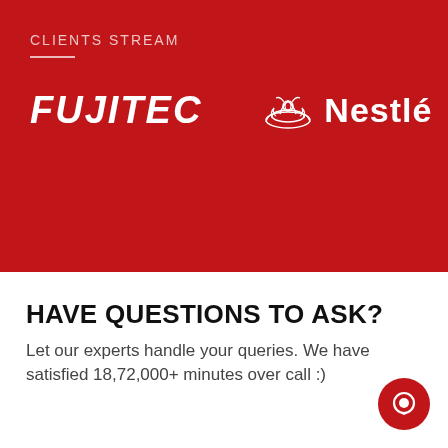CLIENTS STREAM
[Figure (logo): FUJITEC logo in white bold italic text on red background]
[Figure (logo): Nestlé logo with bird nest icon in white on red background]
HAVE QUESTIONS TO ASK?
Let our experts handle your queries. We have satisfied 18,72,000+ minutes over call :)